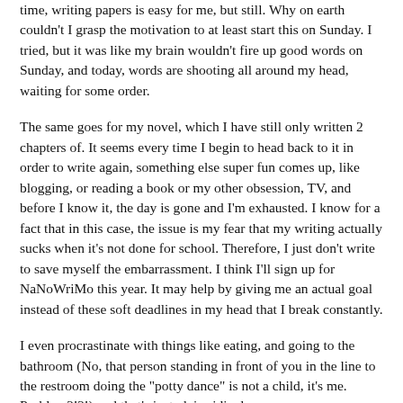time, writing papers is easy for me, but still. Why on earth couldn't I grasp the motivation to at least start this on Sunday. I tried, but it was like my brain wouldn't fire up good words on Sunday, and today, words are shooting all around my head, waiting for some order.
The same goes for my novel, which I have still only written 2 chapters of. It seems every time I begin to head back to it in order to write again, something else super fun comes up, like blogging, or reading a book or my other obsession, TV, and before I know it, the day is gone and I'm exhausted. I know for a fact that in this case, the issue is my fear that my writing actually sucks when it's not done for school. Therefore, I just don't write to save myself the embarrassment. I think I'll sign up for NaNoWriMo this year. It may help by giving me an actual goal instead of these soft deadlines in my head that I break constantly.
I even procrastinate with things like eating, and going to the bathroom (No, that person standing in front of you in the line to the restroom doing the "potty dance" is not a child, it's me. Problem?!?!) and that's just plain ridiculous.